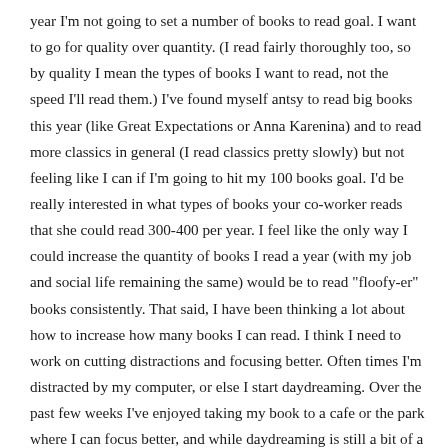year I'm not going to set a number of books to read goal. I want to go for quality over quantity. (I read fairly thoroughly too, so by quality I mean the types of books I want to read, not the speed I'll read them.) I've found myself antsy to read big books this year (like Great Expectations or Anna Karenina) and to read more classics in general (I read classics pretty slowly) but not feeling like I can if I'm going to hit my 100 books goal. I'd be really interested in what types of books your co-worker reads that she could read 300-400 per year. I feel like the only way I could increase the quantity of books I read a year (with my job and social life remaining the same) would be to read "floofy-er" books consistently. That said, I have been thinking a lot about how to increase how many books I can read. I think I need to work on cutting distractions and focusing better. Often times I'm distracted by my computer, or else I start daydreaming. Over the past few weeks I've enjoyed taking my book to a cafe or the park where I can focus better, and while daydreaming is still a bit of a problem, I get a lot more read. I also am thinking about cutting some TV shows. I get so behind on my DVR. There are some shows that I should probably just cut from my